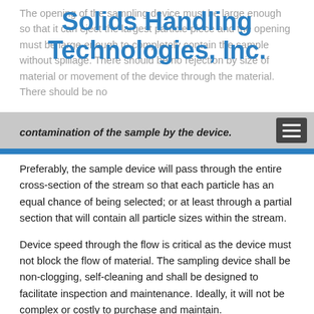Solids Handling Technologies, Inc.
The opening of the sampling device must be large enough so that it can eject the largest particle piece and the opening must be large enough to completely contain the sample without spillage. There should be no rejection by size of material or movement of the device through the material. There should be no contamination of the sample by the device.
Preferably, the sample device will pass through the entire cross-section of the stream so that each particle has an equal chance of being selected; or at least through a partial section that will contain all particle sizes within the stream.
Device speed through the flow is critical as the device must not block the flow of material. The sampling device shall be non-clogging, self-cleaning and shall be designed to facilitate inspection and maintenance. Ideally, it will not be complex or costly to purchase and maintain.